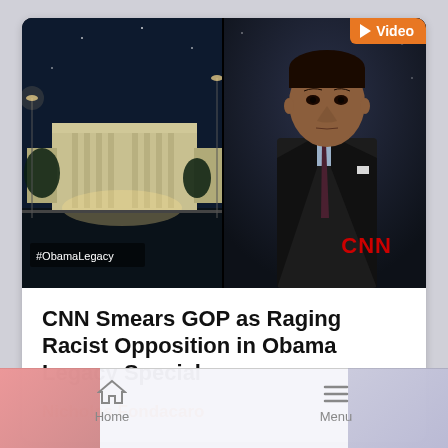[Figure (screenshot): CNN TV screenshot showing a male news anchor in a dark suit and tie in front of a split screen with the White House at night on the left. CNN logo visible in lower right. #ObamaLegacy hashtag visible lower left. Orange 'Video' badge in upper right corner.]
CNN Smears GOP as Raging Racist Opposition in Obama Legacy Special
Nicholas Fondacaro
Home   Menu